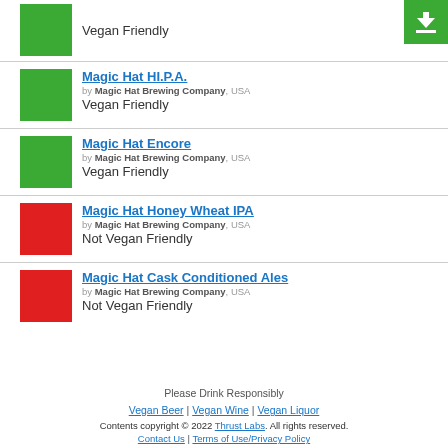Vegan Friendly (partial top item)
Magic Hat HI.P.A. by Magic Hat Brewing Company, USA — Vegan Friendly
Magic Hat Encore by Magic Hat Brewing Company, USA — Vegan Friendly
Magic Hat Honey Wheat IPA by Magic Hat Brewing Company, USA — Not Vegan Friendly
Magic Hat Cask Conditioned Ales by Magic Hat Brewing Company, USA — Not Vegan Friendly
Please Drink Responsibly
Vegan Beer | Vegan Wine | Vegan Liquor
Contents copyright © 2022 Thrust Labs. All rights reserved.
Contact Us | Terms of Use/Privacy Policy